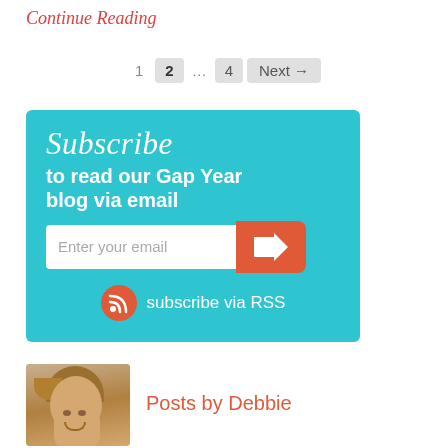Continue Reading
1  2  …  4  Next →
[Figure (infographic): Subscribe to read our Gap Year blog via email. Teal background box with script title 'Subscribe', bold text 'to read our Gap Year blog via email', email input field with orange arrow submit button, and orange RSS icon with 'subscribe via RSS' text.]
[Figure (photo): Photo of a smiling woman with short blonde/light brown hair, author named Debbie.]
Posts by Debbie